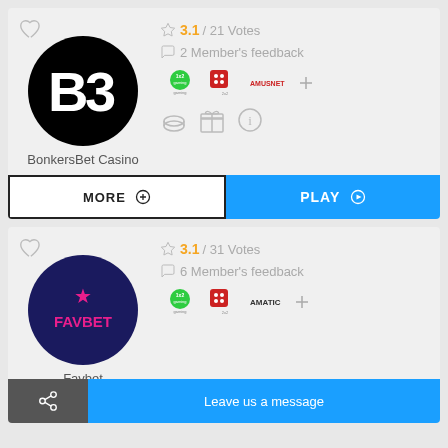[Figure (logo): BonkersBet Casino logo - black circle with white B3 letters]
BonkersBet Casino
3.1 / 21 Votes
2 Member's feedback
[Figure (logo): Provider logos: 1x2 gaming, 2x2 gaming dice, Amusnet]
[Figure (infographic): Casino feature icons: coins, bonus, info]
MORE
PLAY
[Figure (logo): Favbet logo - dark navy circle with pink star and FAVBET text]
Favbet
3.1 / 31 Votes
6 Member's feedback
[Figure (logo): Provider logos: 1x2 gaming, 2x2 gaming dice, Amatic]
Leave us a message